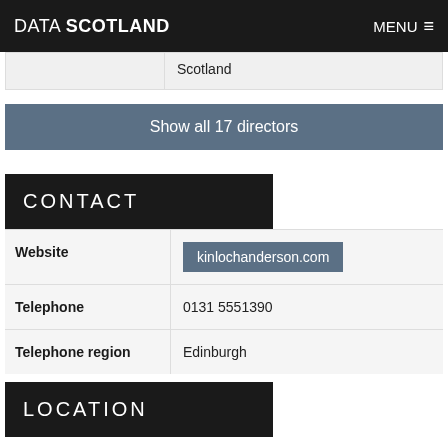DATA SCOTLAND  MENU
|  | Scotland |
| --- | --- |
|  | Scotland |
Show all 17 directors
CONTACT
| Field | Value |
| --- | --- |
| Website | kinlochanderson.com |
| Telephone | 0131 5551390 |
| Telephone region | Edinburgh |
LOCATION